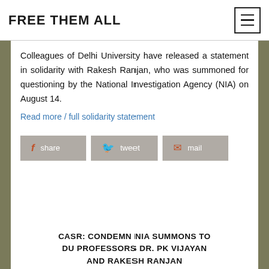FREE THEM ALL
Colleagues of Delhi University have released a statement in solidarity with Rakesh Ranjan, who was summoned for questioning by the National Investigation Agency (NIA) on August 14.
Read more / full solidarity statement
share
tweet
mail
CASR: CONDEMN NIA SUMMONS TO DU PROFESSORS DR. PK VIJAYAN AND RAKESH RANJAN